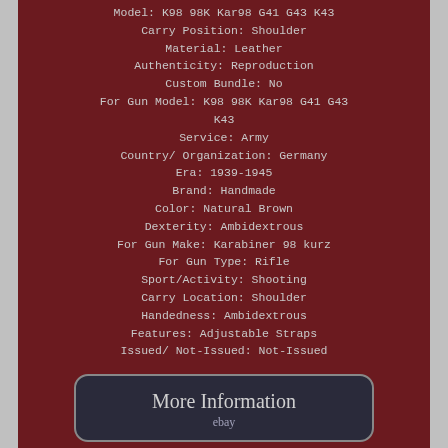Model: K98 98K Kar98 G41 G43 K43
Carry Position: Shoulder
Material: Leather
Authenticity: Reproduction
Custom Bundle: No
For Gun Model: K98 98K Kar98 G41 G43 K43
Service: Army
Country/ Organization: Germany
Era: 1939-1945
Brand: Handmade
Color: Natural Brown
Dexterity: Ambidextrous
For Gun Make: Karabiner 98 kurz
For Gun Type: Rifle
Sport/Activity: Shooting
Carry Location: Shoulder
Handedness: Ambidextrous
Features: Adjustable Straps
Issued/ Not-Issued: Not-Issued
[Figure (other): More Information button with ebay branding]
[Figure (other): View Price button with ebay branding]